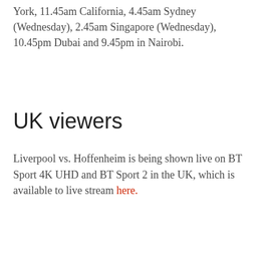York, 11.45am California, 4.45am Sydney (Wednesday), 2.45am Singapore (Wednesday), 10.45pm Dubai and 9.45pm in Nairobi.
UK viewers
Liverpool vs. Hoffenheim is being shown live on BT Sport 4K UHD and BT Sport 2 in the UK, which is available to live stream here.
US viewers